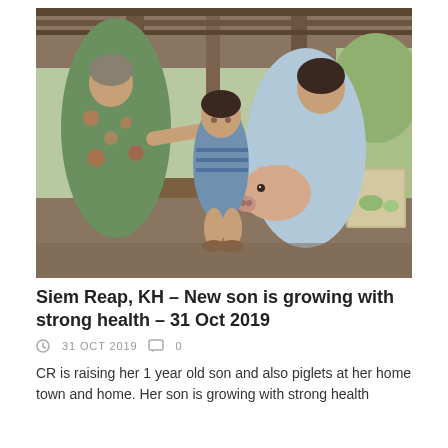[Figure (photo): Outdoor photo under a wooden shelter: an elderly woman in a floral green outfit on the left reaching toward a young woman on the right in a light blue shirt, who is holding a small piglet. A toddler in a striped shirt stands between them. Tropical vegetation visible in background.]
Siem Reap, KH – New son is growing with strong health – 31 Oct 2019
31 OCT 2019   0
CR is raising her 1 year old son and also piglets at her home town and home. Her son is growing with strong health